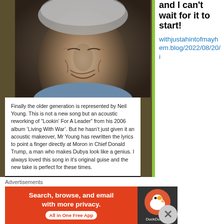[Figure (photo): Close-up photo of an older man's face, showing wrinkles and gray hair]
Finally the older generation is represented by Neil Young. This is not a new song but an acoustic reworking of “Lookin’ For A Leader” from his 2006 album ‘Living With War’. But he hasn’t just given it an acoustic makeover, Mr Young has rewritten the lyrics to point a finger directly at Moron in Chief Donald Trump, a man who makes Dubya look like a genius. I always loved this song in it’s original guise and the new take is perfect for these times.
[Figure (screenshot): YouTube video thumbnail showing Jorja Smith - By ... with a circular profile image of a person in a red hat]
and I can't wait for it to start!
withjustahintofmayhem.blog/2022/08/20/i
Advertisements
[Figure (screenshot): DuckDuckGo advertisement banner: Search, browse, and email with more privacy. All in One Free App]